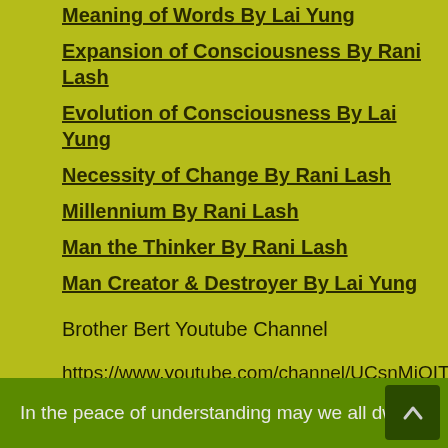Meaning of Words By Lai Yung
Expansion of Consciousness By Rani Lash
Evolution of Consciousness By Lai Yung
Necessity of Change By Rani Lash
Millennium By Rani Lash
Man the Thinker By Rani Lash
Man Creator & Destroyer By Lai Yung
Brother Bert Youtube Channel
https://www.youtube.com/channel/UCsnMiOIT--lNT9tIqgwk7QQ
In the peace of understanding may we all dwell.